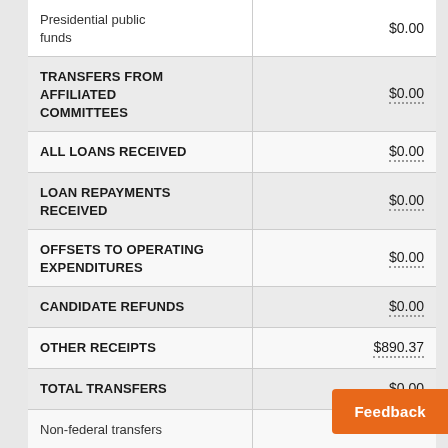| Category | Amount |
| --- | --- |
| Presidential public funds | $0.00 |
| TRANSFERS FROM AFFILIATED COMMITTEES | $0.00 |
| ALL LOANS RECEIVED | $0.00 |
| LOAN REPAYMENTS RECEIVED | $0.00 |
| OFFSETS TO OPERATING EXPENDITURES | $0.00 |
| CANDIDATE REFUNDS | $0.00 |
| OTHER RECEIPTS | $890.37 |
| TOTAL TRANSFERS | $0.00 |
| Non-federal transfers | $0.00 |
Feedback